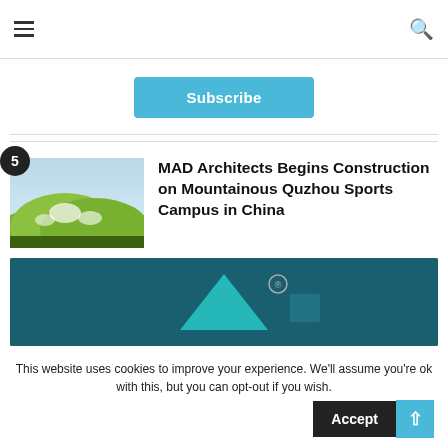Navigation header with hamburger menu and search icon
Subscribe
MAD Architects Begins Construction on Mountainous Quzhou Sports Campus in China
[Figure (photo): Aerial rendering of mountainous green sports campus with dome structures]
[Figure (photo): Dark teal background with teal triangle logo and registered trademark symbol]
This website uses cookies to improve your experience. We'll assume you're ok with this, but you can opt-out if you wish.
Accept